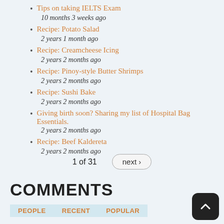Tips on taking IELTS Exam
10 months 3 weeks ago
Recipe: Potato Salad
2 years 1 month ago
Recipe: Creamcheese Icing
2 years 2 months ago
Recipe: Pinoy-style Butter Shrimps
2 years 2 months ago
Recipe: Sushi Bake
2 years 2 months ago
Giving birth soon? Sharing my list of Hospital Bag Essentials.
2 years 2 months ago
Recipe: Beef Kaldereta
2 years 2 months ago
1 of 31  next ›
COMMENTS
PEOPLE  RECENT  POPULAR